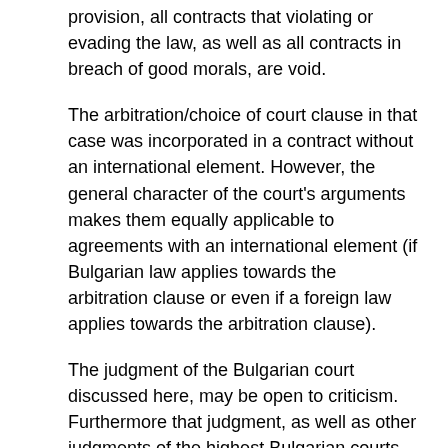provision, all contracts that violating or evading the law, as well as all contracts in breach of good morals, are void.
The arbitration/choice of court clause in that case was incorporated in a contract without an international element. However, the general character of the court's arguments makes them equally applicable to agreements with an international element (if Bulgarian law applies towards the arbitration clause or even if a foreign law applies towards the arbitration clause).
The judgment of the Bulgarian court discussed here, may be open to criticism. Furthermore that judgment, as well as other judgments of the highest Bulgarian courts, does not have the power of a precedent binding all other courts to decide subsequent cases in the same manner. Nevertheless, the tendency of sticking down arbitration clauses with such reasoning (bearing in mind the similar French case) is a concerning one.